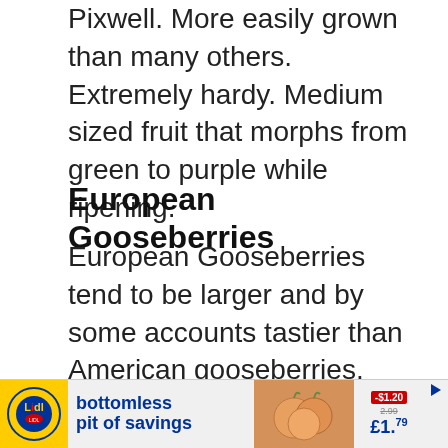Pixwell. More easily grown than many others. Extremely hardy. Medium sized fruit that morphs from green to purple while ripening.
European Gooseberries
European Gooseberries tend to be larger and by some accounts tastier than American gooseberries. They are at times the size of a plum but generally a tad smaller. They come in variant shades of white and yellow, reds and purples and most shades in bet
[Figure (other): Lidl advertisement banner: bottomless pit of savings, showing peaches/fruit image and price £1.79]